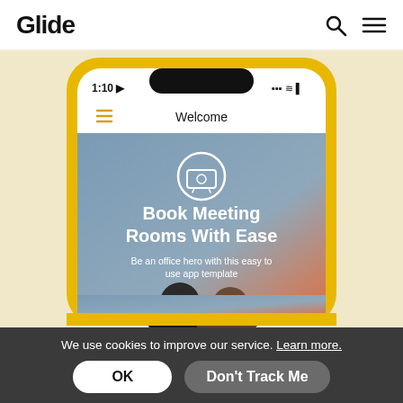Glide
[Figure (screenshot): Screenshot of a mobile phone showing the Glide app with 'Book Meeting Rooms With Ease' welcome screen. The phone has a yellow border and displays a Welcome screen with an icon, bold white heading 'Book Meeting Rooms With Ease', subtitle 'Be an office hero with this easy to use app template', and a background showing two people from behind with a gradient from blue-grey to orange.]
We use cookies to improve our service. Learn more.
OK
Don't Track Me